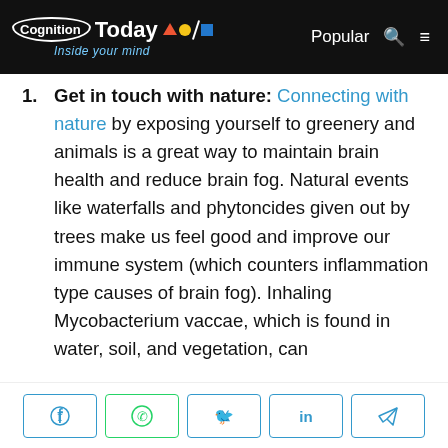Cognition Today — Inside your mind | Popular
Get in touch with nature: Connecting with nature by exposing yourself to greenery and animals is a great way to maintain brain health and reduce brain fog. Natural events like waterfalls and phytoncides given out by trees make us feel good and improve our immune system (which counters inflammation type causes of brain fog). Inhaling Mycobacterium vaccae, which is found in water, soil, and vegetation, can
Social share buttons: Facebook, WhatsApp, Twitter, LinkedIn, Telegram